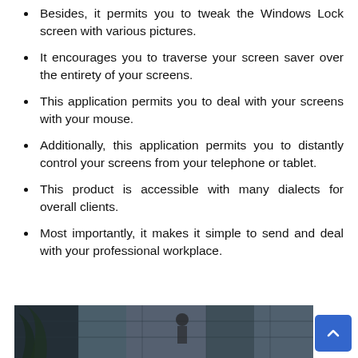Besides, it permits you to tweak the Windows Lock screen with various pictures.
It encourages you to traverse your screen saver over the entirety of your screens.
This application permits you to deal with your screens with your mouse.
Additionally, this application permits you to distantly control your screens from your telephone or tablet.
This product is accessible with many dialects for overall clients.
Most importantly, it makes it simple to send and deal with your professional workplace.
[Figure (photo): A dark architectural photo showing stone walls with a figure in the background]